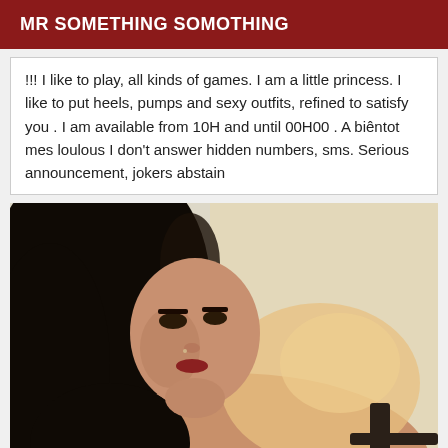MR SOMETHING SOMOTHING
!!! I like to play, all kinds of games. I am a little princess. I like to put heels, pumps and sexy outfits, refined to satisfy you . I am available from 10H and until 00H00 . A biêntot mes loulous I don't answer hidden numbers, sms. Serious announcement, jokers abstain
[Figure (photo): Portrait photo of a young woman with dark hair, wearing makeup, looking at the camera over her shoulder]